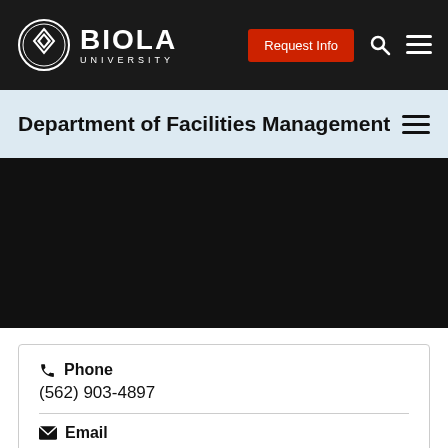Biola University
Department of Facilities Management
[Figure (other): Dark hero image/banner area for Department of Facilities Management]
Phone
(562) 903-4897
Email
facilities.management@biola.edu